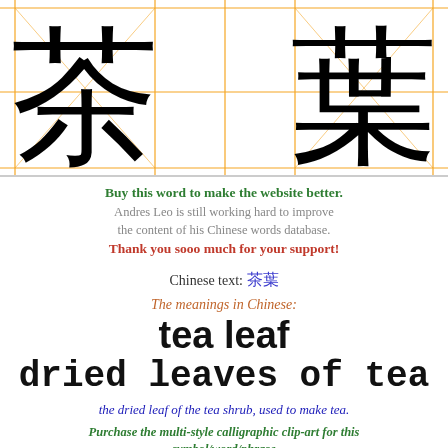[Figure (illustration): Two large Chinese calligraphic characters (茶 - tea leaf) displayed in black ink on white background with orange grid guidelines dividing the space into sections.]
Buy this word to make the website better. Andres Leo is still working hard to improve the content of his Chinese words database. Thank you sooo much for your support!
Chinese text: 茶葉
The meanings in Chinese:
tea leaf
dried leaves of tea
the dried leaf of the tea shrub, used to make tea.
Purchase the multi-style calligraphic clip-art for this symbol/word/phrase